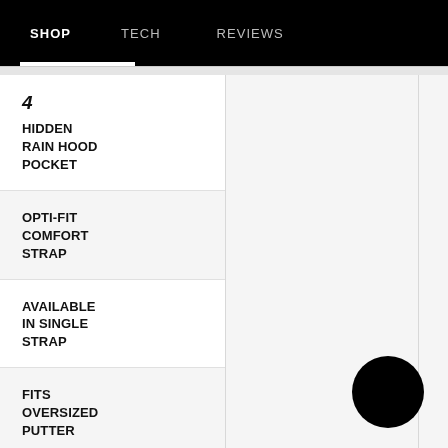SHOP  TECH  REVIEWS
4
HIDDEN RAIN HOOD POCKET
OPTI-FIT COMFORT STRAP
AVAILABLE IN SINGLE STRAP
FITS OVERSIZED PUTTER